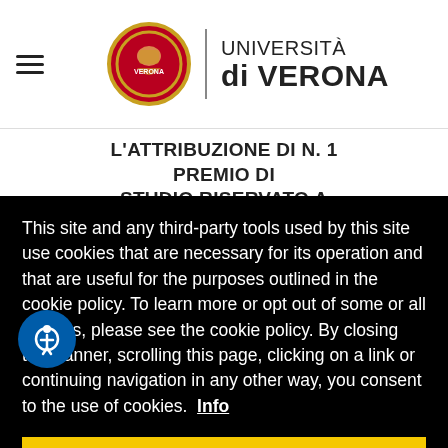[Figure (logo): Università di Verona logo with circular emblem and university name]
L'ATTRIBUZIONE DI N. 1 PREMIO DI STUDIO RISERVATO A STUDENTI
This site and any third-party tools used by this site use cookies that are necessary for its operation and that are useful for the purposes outlined in the cookie policy. To learn more or opt out of some or all cookies, please see the cookie policy. By closing this banner, scrolling this page, clicking on a link or continuing navigation in any other way, you consent to the use of cookies. Info
Accept
L'ATTRIBUZIONE DI N. 3 PREMI DI